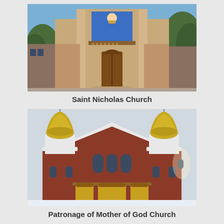[Figure (photo): Exterior front facade of Saint Nicholas Church, a tan/beige brick building with large wooden doors and a religious icon mosaic above the entrance, flanked by trees, blue sky above.]
Saint Nicholas Church
[Figure (photo): Exterior front facade of Patronage of Mother of God Church, a red brick building with two silver and gold onion domes on top of white towers, three ornate golden doors at the entrance, arched windows, with snow on the ground.]
Patronage of Mother of God Church